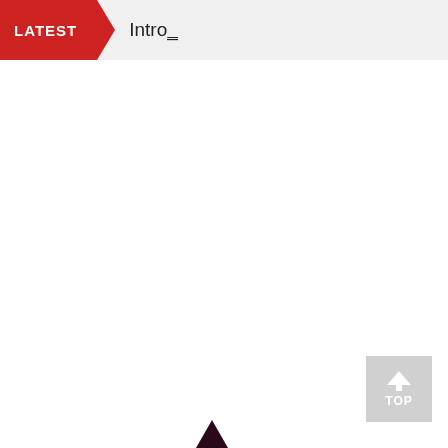LATEST  Intro_
[Figure (illustration): Small dark decorative figure/icon at bottom center of page]
[Figure (other): Gray 'TOP' button with upward arrow at bottom right corner]